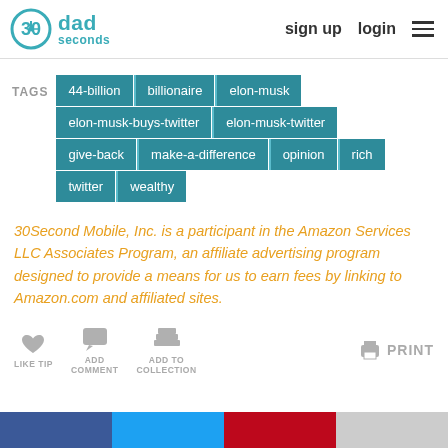30seconds dad | sign up | login
TAGS: 44-billion | billionaire | elon-musk | elon-musk-buys-twitter | elon-musk-twitter | give-back | make-a-difference | opinion | rich | twitter | wealthy
30Second Mobile, Inc. is a participant in the Amazon Services LLC Associates Program, an affiliate advertising program designed to provide a means for us to earn fees by linking to Amazon.com and affiliated sites.
LIKE TIP | ADD COMMENT | ADD TO COLLECTION | PRINT